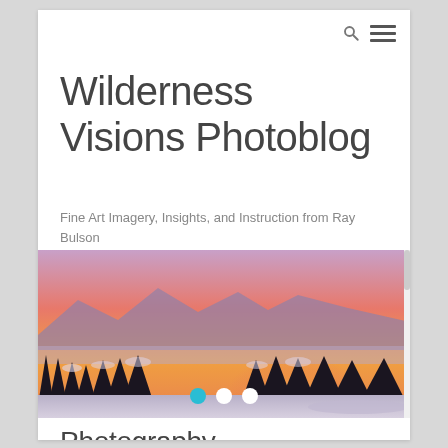Wilderness Visions Photoblog
Fine Art Imagery, Insights, and Instruction from Ray Bulson
[Figure (photo): Winter wilderness landscape at sunset with pink and orange sky, snow-covered evergreen trees silhouetted against a glowing horizon, mountains in background, snowy foreground. Slider dots visible at the bottom (first dot active/teal, two white dots).]
Photography